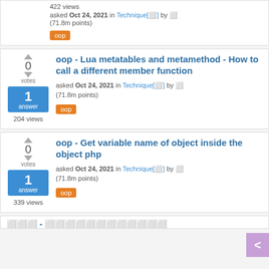422 views
asked Oct 24, 2021 in Technique[⬜] by ⬜ (71.8m points)
oop
oop - Lua metatables and metamethod - How to call a different member function
asked Oct 24, 2021 in Technique[⬜] by ⬜ (71.8m points)
oop
0 votes · 1 answer · 204 views
oop - Get variable name of object inside the object php
asked Oct 24, 2021 in Technique[⬜] by ⬜ (71.8m points)
oop
0 votes · 1 answer · 339 views